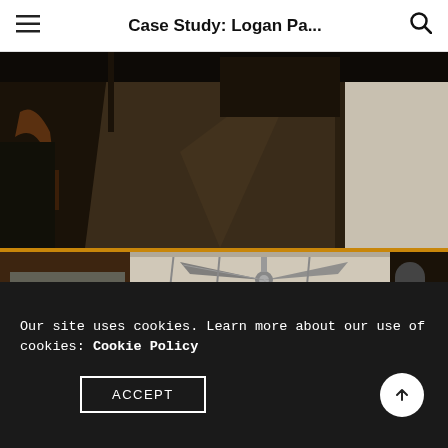Case Study: Logan Pa...
[Figure (photo): Interior corridor/hallway photo showing dark wood paneling and dark flooring with chairs on the left side]
[Figure (photo): Interior ceiling photo showing a ceiling fan with three blades and pendant track lights]
Our site uses cookies. Learn more about our use of cookies: Cookie Policy
ACCEPT